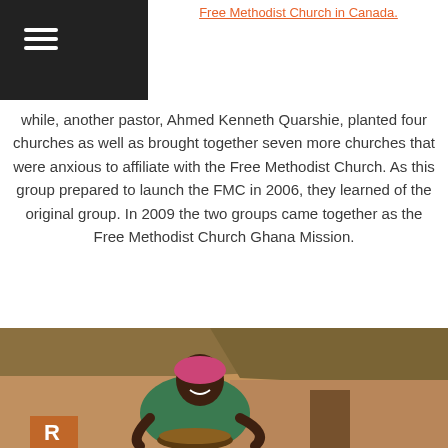Free Methodist Church in Canada.
while, another pastor, Ahmed Kenneth Quarshie, planted four churches as well as brought together seven more churches that were anxious to affiliate with the Free Methodist Church. As this group prepared to launch the FMC in 2006, they learned of the original group. In 2009 the two groups came together as the Free Methodist Church Ghana Mission.
[Figure (photo): A smiling African woman wearing a green patterned top and pink head wrap, standing outside in front of thatched-roof mud buildings, holding a decorative bowl or basket.]